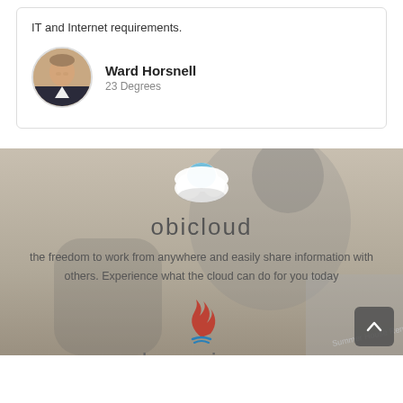IT and Internet requirements.
Ward Horsnell
23 Degrees
[Figure (illustration): Cloud service logo (obicloud) with a stylized white/blue cloud icon above the text 'obicloud' and description 'the freedom to work from anywhere and easily share information with others. Experience what the cloud can do for you today']
obicloud
the freedom to work from anywhere and easily share information with others. Experience what the cloud can do for you today
[Figure (logo): Java programming language logo - red flame-like icon with blue steam lines below]
learn java